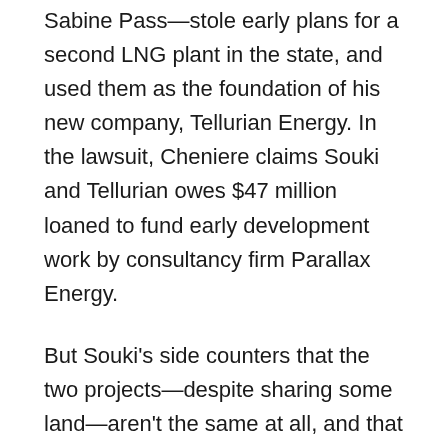Sabine Pass—stole early plans for a second LNG plant in the state, and used them as the foundation of his new company, Tellurian Energy. In the lawsuit, Cheniere claims Souki and Tellurian owes $47 million loaned to fund early development work by consultancy firm Parallax Energy.
But Souki's side counters that the two projects—despite sharing some land—aren't the same at all, and that Driftwood is much bigger. Besides, according to deposition testimony, the loan is void based on a later agreement to which the Cheniere board itself had agreed.
Driftwood LNG is a megaplant, to be built by